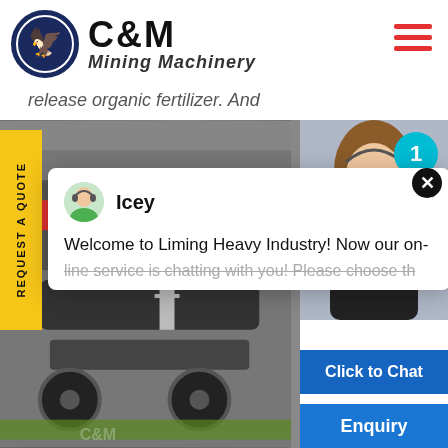[Figure (logo): C&M Mining Machinery logo with eagle in gear circle, dark navy blue]
release organic fertilizer. And
REQUEST A QUOTE
[Figure (photo): Large industrial mining machinery/crusher on tracks in a warehouse]
[Figure (screenshot): Chat popup with avatar of Icey, message: Welcome to Liming Heavy Industry! Now our on-line service is chatting with you! Please choose th...]
[Figure (photo): Customer service woman with headset, teal badge showing number 1]
Click to Chat
Enquiry